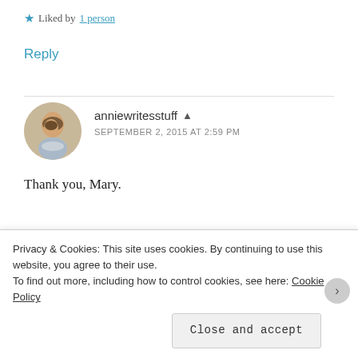★ Liked by 1 person
Reply
anniewritesstuff ▲ SEPTEMBER 2, 2015 AT 2:59 PM
Thank you, Mary.
★ Like
Reply
Privacy & Cookies: This site uses cookies. By continuing to use this website, you agree to their use.
To find out more, including how to control cookies, see here: Cookie Policy
Close and accept